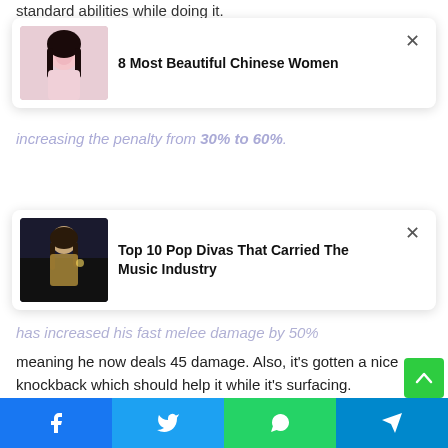standard abilities while doing it.
[Figure (infographic): Ad card: '8 Most Beautiful Chinese Women' with a photo of a woman in pink and a close (X) button]
increasing the penalty from 30% to 60%.
the biggest change in this patch is probably
[Figure (infographic): Ad card: 'Top 10 Pop Divas That Carried The Music Industry' with a photo of a woman performing and a close (X) button]
has increased his fast melee damage by 50%
meaning he now deals 45 damage. Also, it's gotten a nice knockback which should help it while it's surfacing.
It's not clear how many more balance patches we'll see for this first beta, but it will be fun to see how they impact the meta and the Overwatch League when the time comes.
[Figure (infographic): Green scroll-to-top button with upward arrow]
[Figure (infographic): Social share bar with Facebook, Twitter, WhatsApp, and Telegram buttons]